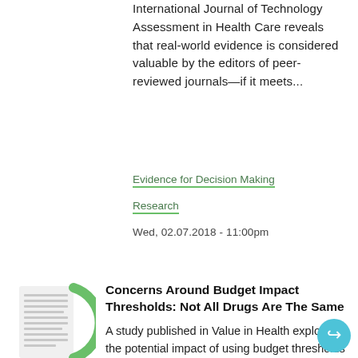International Journal of Technology Assessment in Health Care reveals that real-world evidence is considered valuable by the editors of peer-reviewed journals—if it meets...
Evidence for Decision Making
Research
Wed, 02.07.2018 - 11:00pm
[Figure (other): Thumbnail image of a document page with green circular border on the right side]
Concerns Around Budget Impact Thresholds: Not All Drugs Are The Same
A study published in Value in Health explores the potential impact of using budget thresholds as budget caps (e.g., cannot spend more than a certain dollar amount) for individual...